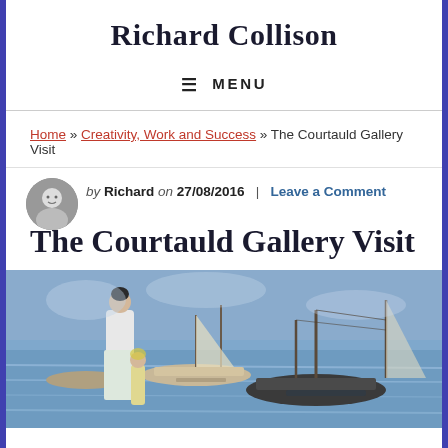Richard Collison
≡ MENU
Home » Creativity, Work and Success » The Courtauld Gallery Visit
by Richard on 27/08/2016 \ Leave a Comment
The Courtauld Gallery Visit
[Figure (photo): Impressionist painting of a woman in white dress with a child near sailboats on water, blue tones]